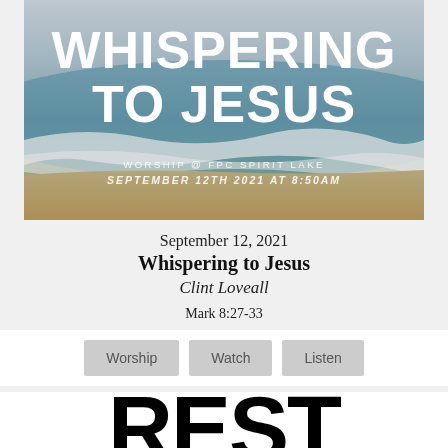[Figure (photo): Beach/ocean scene with waves and sand, with large white bold text 'WHISPERING TO JESUS' overlay and subtitle 'WORSHIP @ FPC SPIRIT LAKE / SEPTEMBER 12TH 2021 AT 8:50AM']
September 12, 2021
Whispering to Jesus
Clint Loveall
Mark 8:27-33
Worship
Watch
Listen
REST